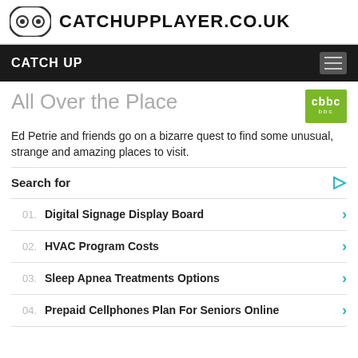CATCHUPPLAYER.CO.UK
CATCH UP
All Over the Place
Ed Petrie and friends go on a bizarre quest to find some unusual, strange and amazing places to visit.
Search for
01. Digital Signage Display Board
02. HVAC Program Costs
03. Sleep Apnea Treatments Options
04. Prepaid Cellphones Plan For Seniors Online